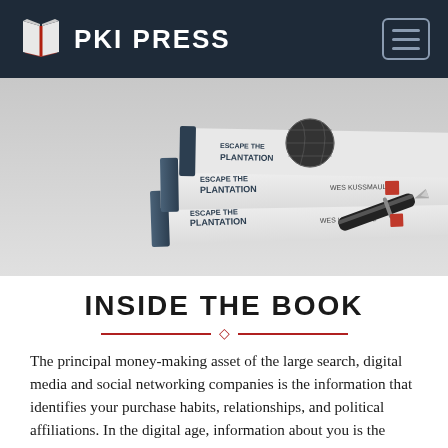PKI PRESS
[Figure (photo): Two stacked books titled 'Escape the Plantation' by Wes Kussmaul, with a fountain pen lying beside them on a light gray background.]
INSIDE THE BOOK
The principal money-making asset of the large search, digital media and social networking companies is the information that identifies your purchase habits, relationships, and political affiliations. In the digital age, information about you is the digital you. And so those big organizations